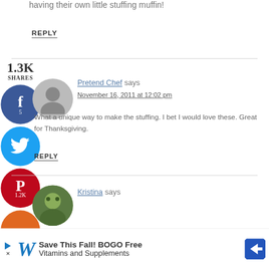having their own little stuffing muffin!
REPLY
1.3K SHARES
[Figure (infographic): Social share buttons: Facebook (5), Twitter, Pinterest (1.2K), Yum]
[Figure (photo): Gray silhouette avatar for Pretend Chef]
Pretend Chef says
November 16, 2011 at 12:02 pm
What a unique way to make the stuffing. I bet I would love these. Great for Thanksgiving.
REPLY
[Figure (photo): Profile photo of Kristina]
Kristina says
Save This Fall! BOGO Free Vitamins and Supplements